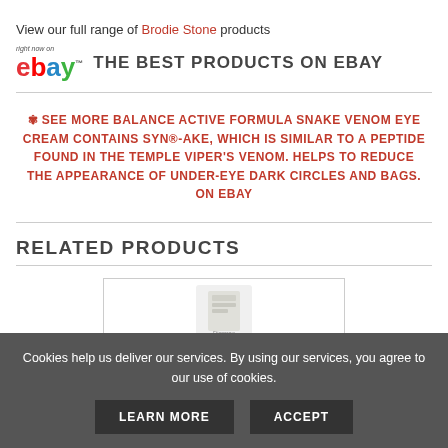View our full range of Brodie Stone products
THE BEST PRODUCTS ON EBAY
✾ SEE MORE BALANCE ACTIVE FORMULA SNAKE VENOM EYE CREAM CONTAINS SYN®-AKE, WHICH IS SIMILAR TO A PEPTIDE FOUND IN THE TEMPLE VIPER'S VENOM. HELPS TO REDUCE THE APPEARANCE OF UNDER-EYE DARK CIRCLES AND BAGS. ON EBAY
RELATED PRODUCTS
[Figure (photo): Product image placeholder for a related product in a card with border]
Cookies help us deliver our services. By using our services, you agree to our use of cookies.
LEARN MORE  ACCEPT